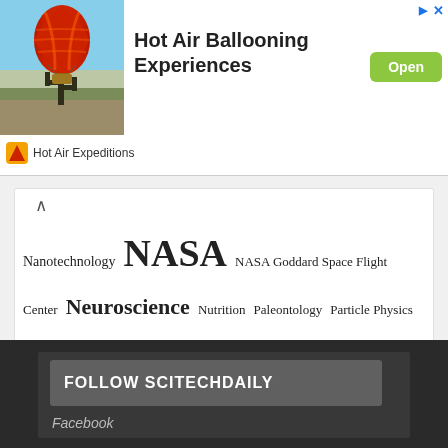[Figure (photo): Advertisement banner: Hot air balloon with cactus silhouette at sunset. Hot Air Ballooning Experiences by Hot Air Expeditions with Open button.]
Nanotechnology NASA NASA Goddard Space Flight Center Neuroscience Nutrition Paleontology Particle Physics Planetary Science Planets Popular Public Health Quantum Physics Vaccine Virology Yale University
FOLLOW SCITECHDAILY
Facebook